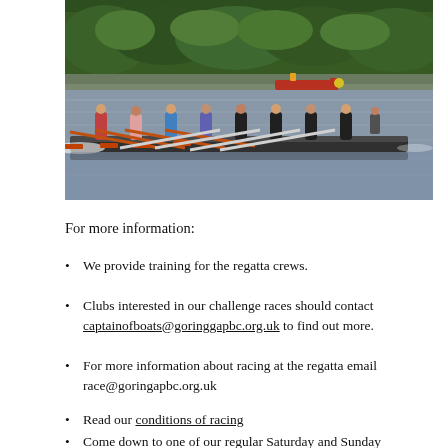[Figure (photo): A rowing eight with multiple rowers on a river, with green trees in the background and a red support boat visible in the distance. The rowers have oars extended on both sides of the boat.]
For more information:
We provide training for the regatta crews.
Clubs interested in our challenge races should contact captainofboats@goringgapbc.org.uk to find out more.
For more information about racing at the regatta email race@goringapbc.org.uk
Read our conditions of racing
Come down to one of our regular Saturday and Sunday